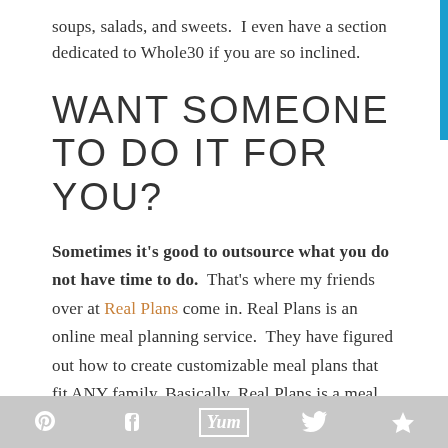soups, salads, and sweets.  I even have a section dedicated to Whole30 if you are so inclined.
WANT SOMEONE TO DO IT FOR YOU?
Sometimes it's good to outsource what you do not have time to do. That's where my friends over at Real Plans come in. Real Plans is an online meal planning service.  They have figured out how to create customizable meal plans that fit ANY family. Basically, Real Plans is a meal
Pinterest | Facebook | Yum | Twitter | Crown